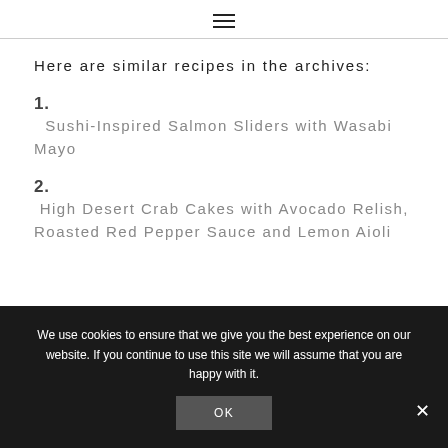≡
Here are similar recipes in the archives:
1. Sushi-Inspired Salmon Sliders with Wasabi Mayo
2. High Desert Crab Cakes with Avocado Relish, Roasted Red Pepper Sauce and Lemon Aioli
We use cookies to ensure that we give you the best experience on our website. If you continue to use this site we will assume that you are happy with it.